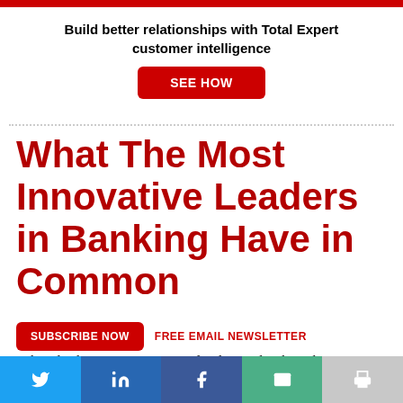Build better relationships with Total Expert customer intelligence
SEE HOW
What The Most Innovative Leaders in Banking Have in Common
SUBSCRIBE NOW   FREE EMAIL NEWSLETTER
What do the most innovative leaders in banking have in common? according to the